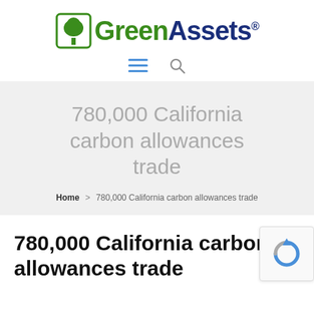[Figure (logo): GreenAssets logo with a green tree icon and two-tone text: 'Green' in dark green and 'Assets' in dark navy blue, with a registered trademark symbol]
[Figure (infographic): Navigation icons: hamburger menu (three horizontal lines in blue) and a search magnifying glass icon]
780,000 California carbon allowances trade
Home > 780,000 California carbon allowances trade
780,000 California carbon allowances trade